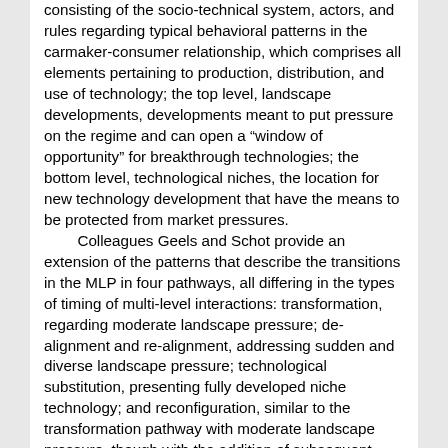consisting of the socio-technical system, actors, and rules regarding typical behavioral patterns in the carmaker-consumer relationship, which comprises all elements pertaining to production, distribution, and use of technology; the top level, landscape developments, developments meant to put pressure on the regime and can open a “window of opportunity” for breakthrough technologies; the bottom level, technological niches, the location for new technology development that have the means to be protected from market pressures.
	Colleagues Geels and Schot provide an extension of the patterns that describe the transitions in the MLP in four pathways, all differing in the types of timing of multi-level interactions: transformation, regarding moderate landscape pressure; de-alignment and re-alignment, addressing sudden and diverse landscape pressure; technological substitution, presenting fully developed niche technology; and reconfiguration, similar to the transformation pathway with moderate landscape pressure, though with the addition of subsequent adoptions of symbiotic elements of niche technologies “lead[ing] to changes in the basic architecture of the system.”  In the event that “no niche-innovation has sufficiently developed, a competition between niche technologies may result, from which one winner emerges, as in the de-alignment and re-alignment pathway.” Regardless, the pathways system is simply meant to provide further guidance to the scenarios that delineate a possible transition to AFVs.
	The third section of the paper focuses solely on the socio-technical system for land-based road...